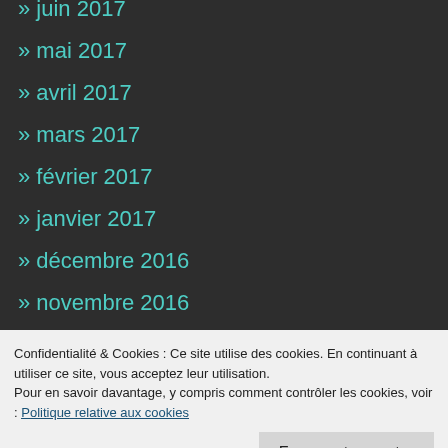» juin 2017
» mai 2017
» avril 2017
» mars 2017
» février 2017
» janvier 2017
» décembre 2016
» novembre 2016
» octobre 2016
» septembre 2016
Confidentialité & Cookies : Ce site utilise des cookies. En continuant à utiliser ce site, vous acceptez leur utilisation. Pour en savoir davantage, y compris comment contrôler les cookies, voir : Politique relative aux cookies
» mai 2016